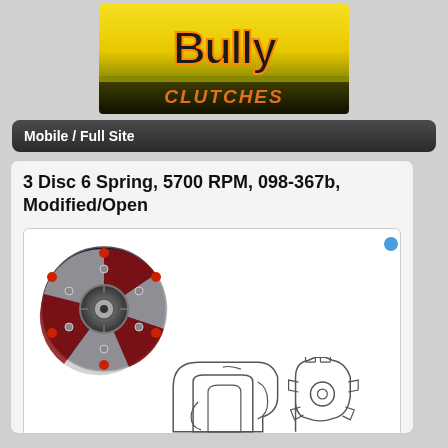[Figure (logo): Bully Clutches logo — black graffiti-style text on yellow and dark gradient background with 'CLUTCHES' in orange script]
Mobile / Full Site
3 Disc 6 Spring, 5700 RPM, 098-367b, Modified/Open
[Figure (photo): Multi-disc clutch assembly photo (top view) showing red springs, silver bolts, dark hub, and a technical schematic of clutch disc components below]